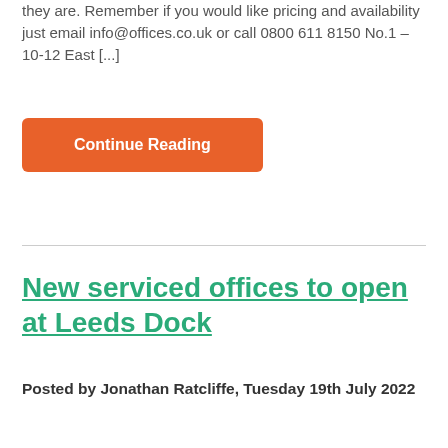they are. Remember if you would like pricing and availability just email info@offices.co.uk or call 0800 611 8150 No.1 – 10-12 East [...]
Continue Reading
New serviced offices to open at Leeds Dock
Posted by Jonathan Ratcliffe, Tuesday 19th July 2022